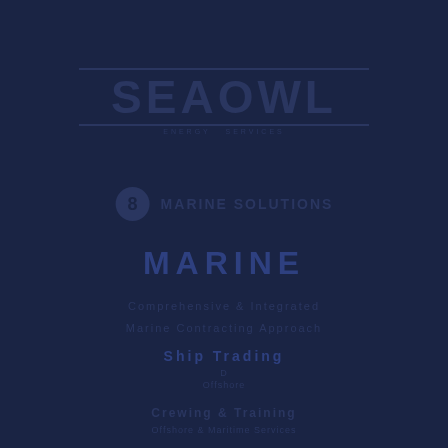[Figure (logo): Sea Owl logo with horizontal rules above and below large bold text SEAOWL, with tagline beneath]
MARINE SOLUTIONS
MARINE
Comprehensive & Integrated
Marine Contracting Approach
Ship Trading
D
Offshore
Crewing & Training
Offshore & Maritime Services